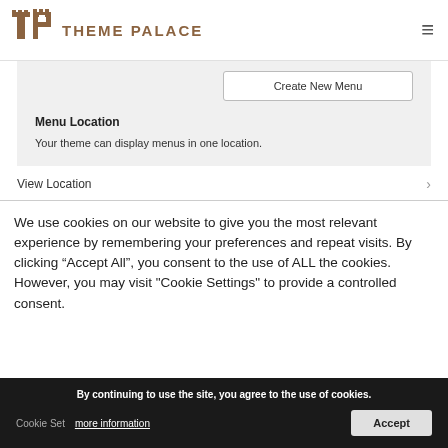[Figure (logo): Theme Palace logo with brown castle/T-P icon and text THEME PALACE]
Create New Menu
Menu Location
Your theme can display menus in one location.
View Location
We use cookies on our website to give you the most relevant experience by remembering your preferences and repeat visits. By clicking “Accept All”, you consent to the use of ALL the cookies. However, you may visit "Cookie Settings" to provide a controlled consent.
By continuing to use the site, you agree to the use of cookies.
more information
Accept